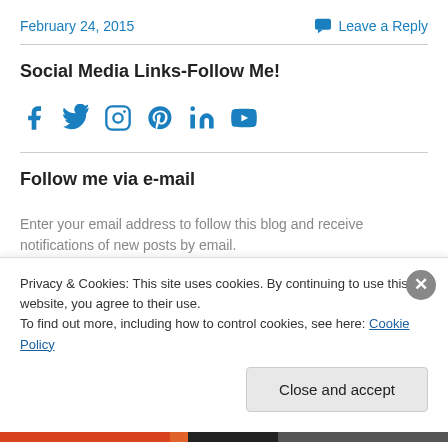February 24, 2015   Leave a Reply
Social Media Links-Follow Me!
[Figure (infographic): Social media icons: Facebook, Twitter, Instagram, Pinterest, LinkedIn, YouTube — all in blue]
Follow me via e-mail
Enter your email address to follow this blog and receive notifications of new posts by email.
Privacy & Cookies: This site uses cookies. By continuing to use this website, you agree to their use.
To find out more, including how to control cookies, see here: Cookie Policy
Close and accept